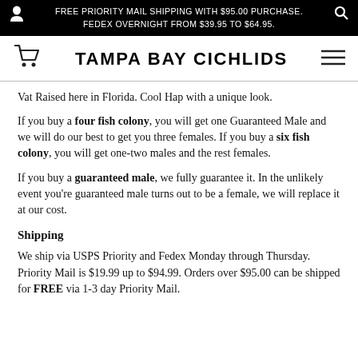FREE PRIORITY MAIL SHIPPING WITH $95.00 PURCHASE. FEDEX OVERNIGHT FROM $39.95 TO $64.95.
TAMPA BAY CICHLIDS
Vat Raised here in Florida. Cool Hap with a unique look.
If you buy a four fish colony, you will get one Guaranteed Male and we will do our best to get you three females. If you buy a six fish colony, you will get one-two males and the rest females.
If you buy a guaranteed male, we fully guarantee it. In the unlikely event you're guaranteed male turns out to be a female, we will replace it at our cost.
Shipping
We ship via USPS Priority and Fedex Monday through Thursday. Priority Mail is $19.99 up to $94.99. Orders over $95.00 can be shipped for FREE via 1-3 day Priority Mail.